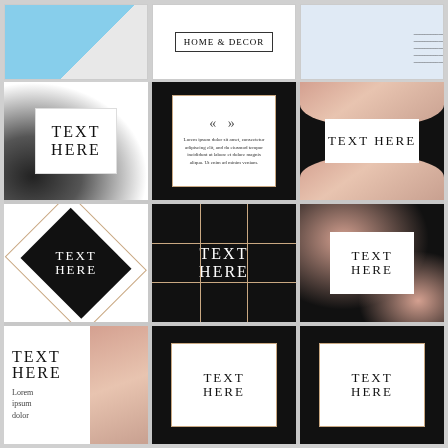[Figure (illustration): Top row: three social media template cards. Left: blue geometric card with transparent triangle. Center: white card with 'HOME & DECOR' bordered text label. Right: white card with small text lines.]
[Figure (illustration): 3x3 grid of social media post templates featuring marble textures in black/white and rose gold/pink combinations. Each card shows 'TEXT HERE' placeholder text in elegant serif font. Second card has decorative quote marks and Lorem ipsum text. Bottom-left card also shows 'Lorem ipsum dolor' subtext.]